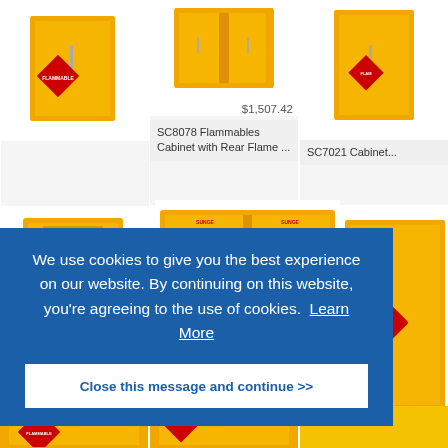[Figure (screenshot): Product listing page for flammable storage cabinets with cookie consent overlay. Top row shows three product cards: SC8079 Jumbo Stacking Flammables Cabinet ($1,266.70), SC8078 Flammables Cabinet with Rear Flame ($1,507.42), SC7021 Cabinet (partially visible). Middle row shows yellow flammable cabinets with FLAMMABLE diamond labels. A blue cookie consent banner overlays the lower portion.]
$1,266.70
SC8079 Jumbo Stacking Flammables Cabinet, ...
$1,507.42
SC8078 Flammables Cabinet with Rear Flame ...
SC7021 Cabinet...
SC7133 Flammables Self-...
We use cookies to give you the best experience on our website. By continuing on this website, you’re agreeing to the use of cookies.  Learn More
Close this message and continue >>